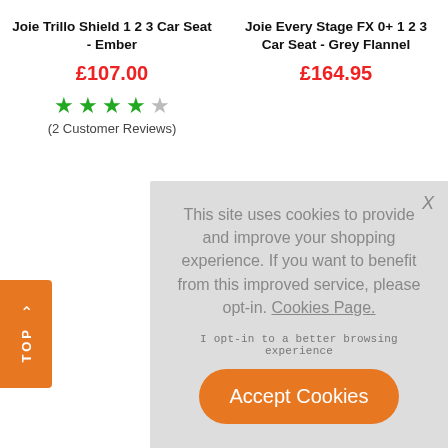Joie Trillo Shield 1 2 3 Car Seat - Ember
Joie Every Stage FX 0+ 1 2 3 Car Seat - Grey Flannel
£107.00
£164.95
★★★★☆ (2 Customer Reviews)
This site uses cookies to provide and improve your shopping experience. If you want to benefit from this improved service, please opt-in. Cookies Page.
I opt-in to a better browsing experience
Accept Cookies